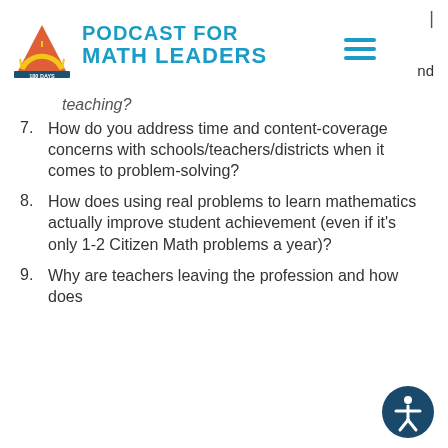PODCAST FOR MATH LEADERS
teaching?
7. How do you address time and content-coverage concerns with schools/teachers/districts when it comes to problem-solving?
8. How does using real problems to learn mathematics actually improve student achievement (even if it's only 1-2 Citizen Math problems a year)?
9. Why are teachers leaving the profession and how does